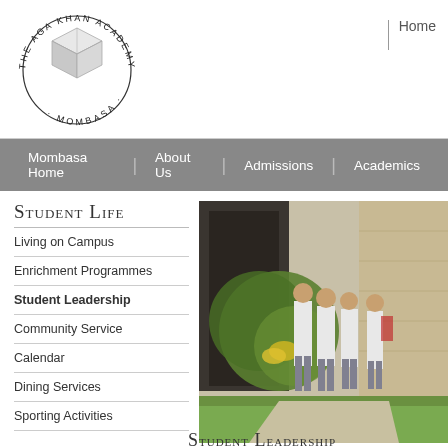[Figure (logo): The Aga Khan Academy Mombasa circular logo with a 3D cube illustration in the center]
Home
Mombasa Home | About Us | Admissions | Academics
Student Life
Living on Campus
Enrichment Programmes
Student Leadership
Community Service
Calendar
Dining Services
Sporting Activities
[Figure (photo): Students in white school uniforms walking on a campus path surrounded by greenery and stone buildings]